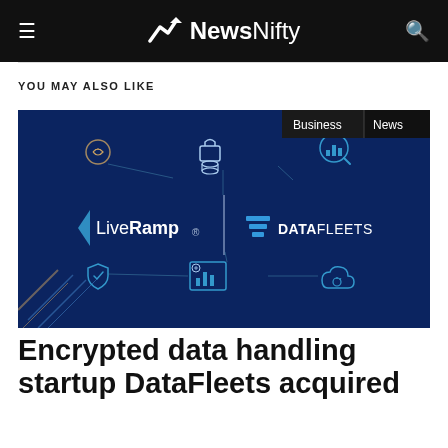NewsNifty
YOU MAY ALSO LIKE
[Figure (illustration): Dark blue background with network/data flow icons (fingerprint, lock, database, analytics, shield, chart) connecting LiveRamp and DataFleets logos in center. Tags 'Business' and 'News' shown in top right corner.]
Encrypted data handling startup DataFleets acquired